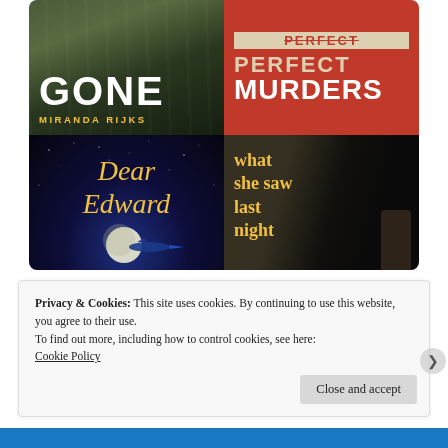[Figure (illustration): A 2x2 collage of four book covers: top-left 'GONE' by Miranda Rijks (dark green forest background, white bold title, yellow author name), top-right 'PERFECT MURDERS' on red background with strikethrough text and cream/white lettering, bottom-left 'Dear Edward' in gold script on dark navy starry night sky with moon and airplane, bottom-right 'what she saw last night' in gold serif text on dark background with blurred train and silhouette of a woman]
Privacy & Cookies: This site uses cookies. By continuing to use this website, you agree to their use.
To find out more, including how to control cookies, see here: Cookie Policy
Close and accept